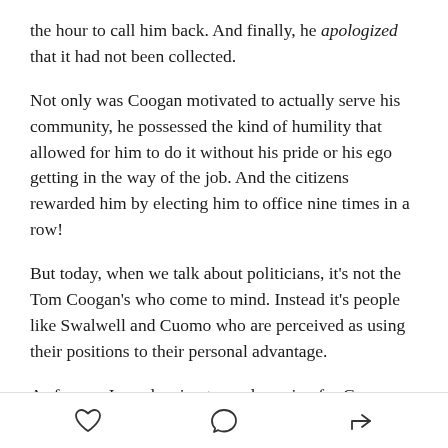the hour to call him back. And finally, he apologized that it had not been collected.
Not only was Coogan motivated to actually serve his community, he possessed the kind of humility that allowed for him to do it without his pride or his ego getting in the way of the job. And the citizens rewarded him by electing him to office nine times in a row!
But today, when we talk about politicians, it's not the Tom Coogan's who come to mind. Instead it's people like Swalwell and Cuomo who are perceived as using their positions to their personal advantage.
As for me, I was leaning toward running for Congress because the Chinese government would try to influence
[heart icon] [comment icon] [share icon]